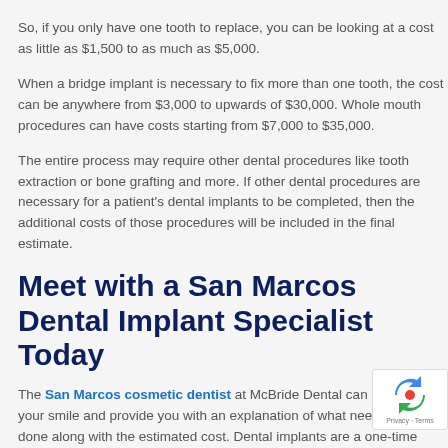So, if you only have one tooth to replace, you can be looking at a cost as little as $1,500 to as much as $5,000.
When a bridge implant is necessary to fix more than one tooth, the cost can be anywhere from $3,000 to upwards of $30,000. Whole mouth procedures can have costs starting from $7,000 to $35,000.
The entire process may require other dental procedures like tooth extraction or bone grafting and more. If other dental procedures are necessary for a patient's dental implants to be completed, then the additional costs of those procedures will be included in the final estimate.
Meet with a San Marcos Dental Implant Specialist Today
The San Marcos cosmetic dentist at McBride Dental can examine your smile and provide you with an explanation of what needs to be done along with the estimated cost. Dental implants are a one-time expense that will improve many aspects of a patient's life and well-being. Call McBride Dental today to have your questions answered during a free consultation with Dr. McBride at (760) 471-1003.